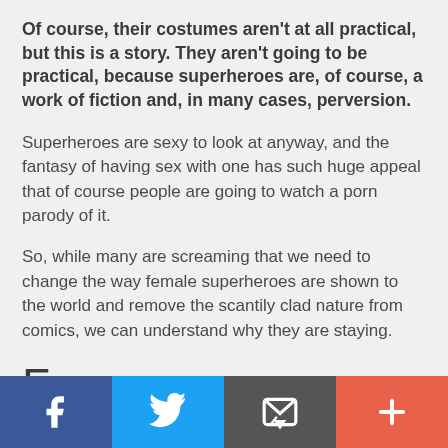Of course, their costumes aren't at all practical, but this is a story. They aren't going to be practical, because superheroes are, of course, a work of fiction and, in many cases, perversion.
Superheroes are sexy to look at anyway, and the fantasy of having sex with one has such huge appeal that of course people are going to watch a porn parody of it.
So, while many are screaming that we need to change the way female superheroes are shown to the world and remove the scantily clad nature from comics, we can understand why they are staying.
Fun
Social share bar: Facebook, Twitter, Email, Plus